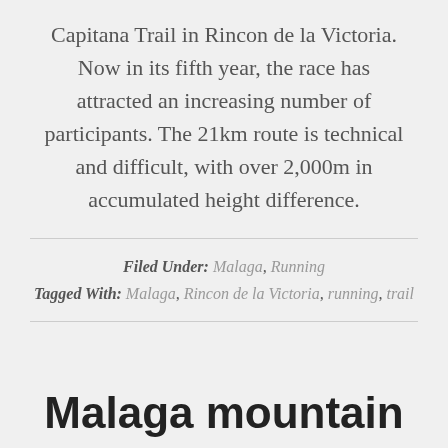Capitana Trail in Rincon de la Victoria. Now in its fifth year, the race has attracted an increasing number of participants. The 21km route is technical and difficult, with over 2,000m in accumulated height difference.
Filed Under: Malaga, Running
Tagged With: Malaga, Rincon de la Victoria, running, trail
Malaga mountain